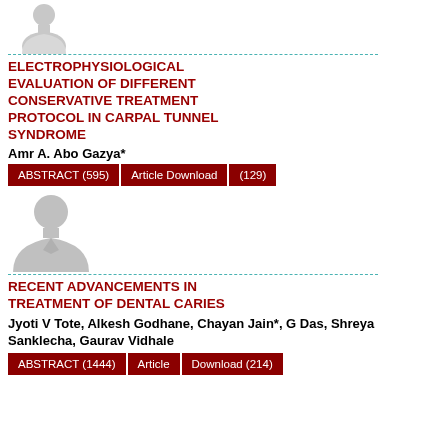[Figure (illustration): Generic person avatar silhouette (grey) for first article]
ELECTROPHYSIOLOGICAL EVALUATION OF DIFFERENT CONSERVATIVE TREATMENT PROTOCOL IN CARPAL TUNNEL SYNDROME
Amr A. Abo Gazya*
ABSTRACT (595)   Article Download (129)
[Figure (illustration): Generic person avatar silhouette (grey) for second article]
RECENT ADVANCEMENTS IN TREATMENT OF DENTAL CARIES
Jyoti V Tote, Alkesh Godhane, Chayan Jain*, G Das, Shreya Sanklecha, Gaurav Vidhale
ABSTRACT (1444)   Article Download (214)